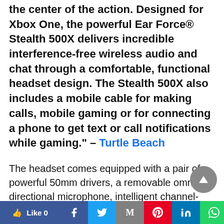the center of the action. Designed for Xbox One, the powerful Ear Force® Stealth 500X delivers incredible interference-free wireless audio and chat through a comfortable, functional headset design. The Stealth 500X also includes a mobile cable for making calls, mobile gaming or for connecting a phone to get text or call notifications while gaming." – Turtle Beach
The headset comes equipped with a pair of powerful 50mm drivers, a removable omni-directional microphone, intelligent channel-hopping